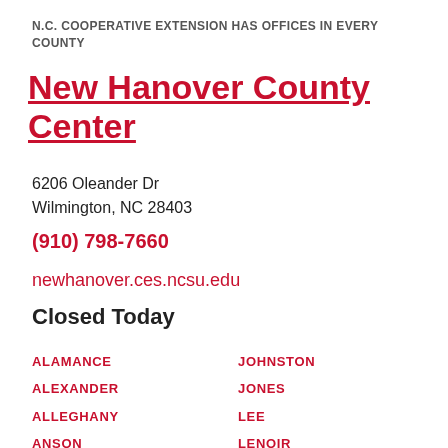N.C. COOPERATIVE EXTENSION HAS OFFICES IN EVERY COUNTY
New Hanover County Center
6206 Oleander Dr
Wilmington, NC 28403
(910) 798-7660
newhanover.ces.ncsu.edu
Closed Today
ALAMANCE
ALEXANDER
ALLEGHANY
ANSON
ASHE
AVERY
BEAUFORT
JOHNSTON
JONES
LEE
LENOIR
LINCOLN
MACON
MADISON